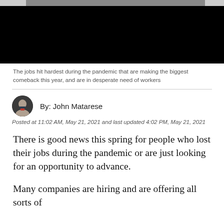[Figure (photo): Dark/black hero image with gray top bar and two lighter notches at top-left and top-right corners]
The jobs hit hardest during the pandemic that are making the biggest comeback this year, and are in desperate need of workers
By: John Matarese
Posted at 11:02 AM, May 21, 2021 and last updated 4:02 PM, May 21, 2021
There is good news this spring for people who lost their jobs during the pandemic or are just looking for an opportunity to advance.
Many companies are hiring and are offering all sorts of bonuses, signing incentives, above the board In 2021,